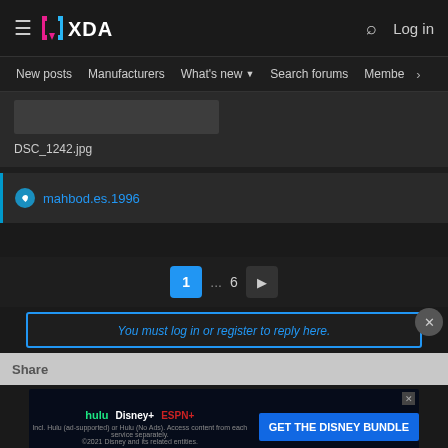XDA Developers — Log in | New posts | Manufacturers | What's new | Search forums | Members
[Figure (screenshot): File attachment thumbnail (gray rectangle) labeled DSC_1242.jpg]
DSC_1242.jpg
mahbod.es.1996
1 ... 6 ▶
You must log in or register to reply here.
Share
[Figure (screenshot): Disney Bundle advertisement: hulu | Disney+ | ESPN+  GET THE DISNEY BUNDLE. Incl. Hulu (ad-supported) or Hulu (No Ads). Access content from each service separately. ©2021 Disney and its related entities.]